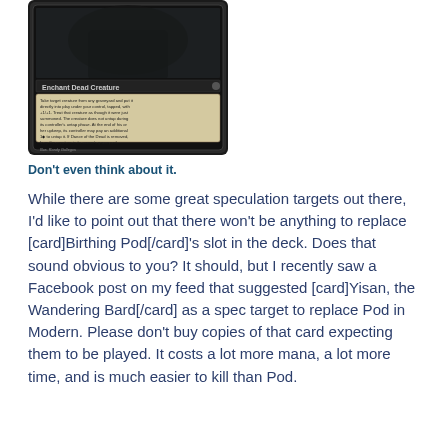[Figure (photo): Magic: The Gathering card showing 'Enchant Dead Creature' with card text about taking target creature from any graveyard and putting it into play under your control, tapped, with +1/+1. Illustrated by Randy Gallegos.]
Don't even think about it.
While there are some great speculation targets out there, I'd like to point out that there won't be anything to replace [card]Birthing Pod[/card]'s slot in the deck. Does that sound obvious to you? It should, but I recently saw a Facebook post on my feed that suggested [card]Yisan, the Wandering Bard[/card] as a spec target to replace Pod in Modern. Please don't buy copies of that card expecting them to be played. It costs a lot more mana, a lot more time, and is much easier to kill than Pod.